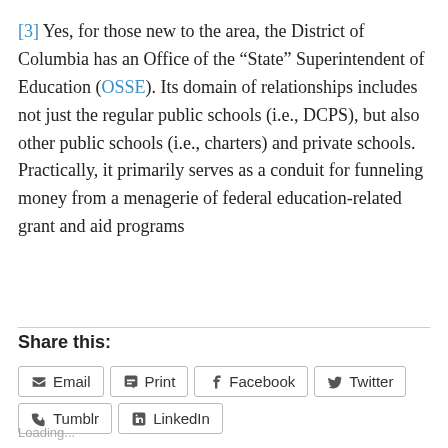[3] Yes, for those new to the area, the District of Columbia has an Office of the “State” Superintendent of Education (OSSE). Its domain of relationships includes not just the regular public schools (i.e., DCPS), but also other public schools (i.e., charters) and private schools. Practically, it primarily serves as a conduit for funneling money from a menagerie of federal education-related grant and aid programs
Share this:
Email
Print
Facebook
Twitter
Tumblr
LinkedIn
Loading...